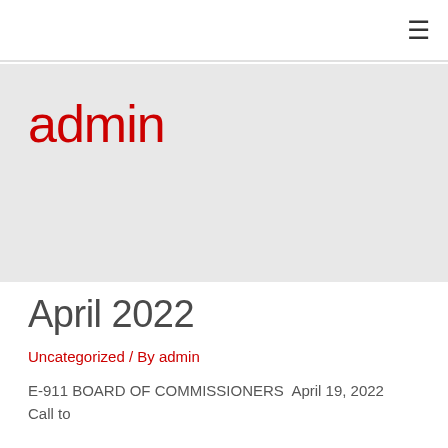≡
admin
April 2022
Uncategorized / By admin
E-911 BOARD OF COMMISSIONERS  April 19, 2022  Call to